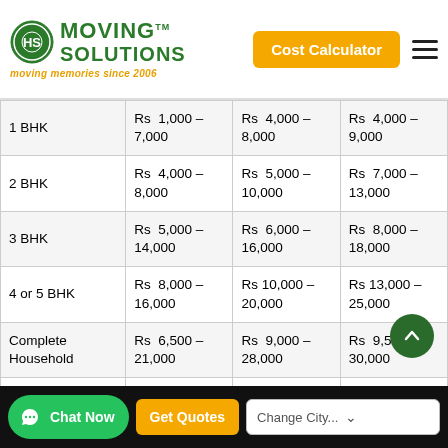Moving Solutions TM — moving memories since 2006 | Cost Calculator
| Type | Price Range 1 | Price Range 2 | Price Range 3 |
| --- | --- | --- | --- |
| 1 BHK | Rs 1,000 – 7,000 | Rs 4,000 – 8,000 | Rs 4,000 – 9,000 |
| 2 BHK | Rs 4,000 – 8,000 | Rs 5,000 – 10,000 | Rs 7,000 – 13,000 |
| 3 BHK | Rs 5,000 – 14,000 | Rs 6,000 – 16,000 | Rs 8,000 – 18,000 |
| 4 or 5 BHK | Rs 8,000 – 16,000 | Rs 10,000 – 20,000 | Rs 13,000 – 25,000 |
| Complete Household | Rs 6,500 – 21,000 | Rs 9,000 – 28,000 | Rs 9,500 – 30,000 |
| Micro Office 6 People Capacity | Rs 11,000 - 18,000 | Rs 13,000 - 22,000 | Rs 15,000 - 25,000 |
| Small Office 20 People... | Rs 19,000 - | Rs 23,000 - | Rs 25,000 - |
Chat Now | Get Quotes | Change City...